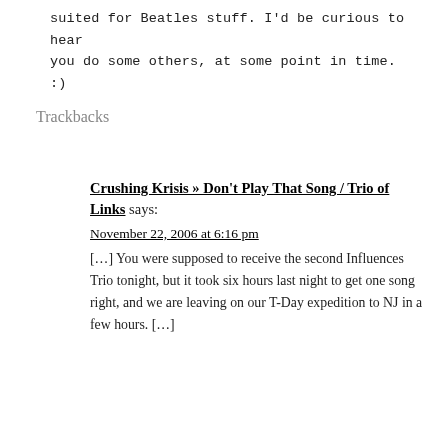suited for Beatles stuff. I'd be curious to hear you do some others, at some point in time. :)
Trackbacks
Crushing Krisis » Don't Play That Song / Trio of Links says:
November 22, 2006 at 6:16 pm
[…] You were supposed to receive the second Influences Trio tonight, but it took six hours last night to get one song right, and we are leaving on our T-Day expedition to NJ in a few hours. […]